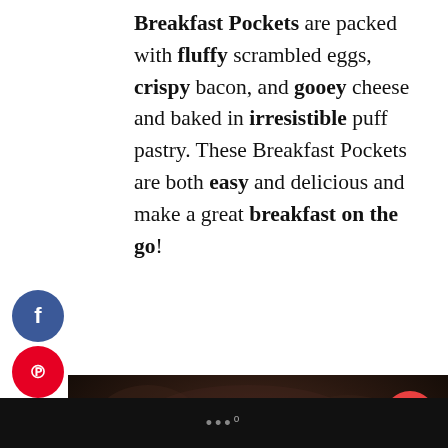Breakfast Pockets are packed with fluffy scrambled eggs, crispy bacon, and gooey cheese and baked in irresistible puff pastry. These Breakfast Pockets are both easy and delicious and make a great breakfast on the go!
[Figure (photo): Photo of golden baked puff pastry breakfast pockets with sesame seeds on top, on a dark background. Social share buttons (Facebook, Pinterest, Twitter, Email) visible on the left. Heart/like button (143) and share button on the right overlay.]